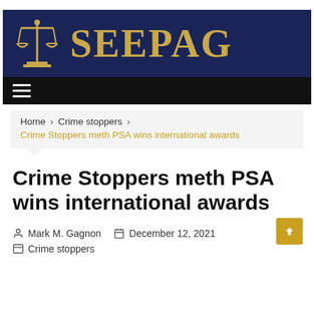[Figure (logo): SEEPAG logo with golden scales of justice icon on dark navy background and large golden text reading SEEPAG]
[Figure (screenshot): Black navigation bar with hamburger menu icon (three white horizontal lines)]
Home > Crime stoppers > Crime Stoppers meth PSA wins international awards
Crime Stoppers meth PSA wins international awards
Mark M. Gagnon  December 12, 2021  Crime stoppers